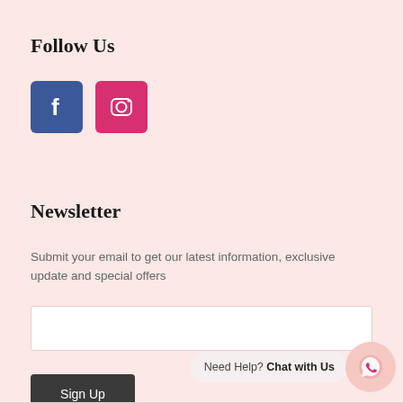Follow Us
[Figure (illustration): Facebook and Instagram social media icons — Facebook (blue square with white 'f') and Instagram (pink/red square with camera icon)]
Newsletter
Submit your email to get our latest information, exclusive update and special offers
[Figure (other): Email input text field (empty white rectangle)]
[Figure (other): Sign Up button (dark grey/charcoal rectangle with white 'Sign Up' text)]
[Figure (other): WhatsApp chat widget: 'Need Help? Chat with Us' text bubble with WhatsApp logo circle in pink]